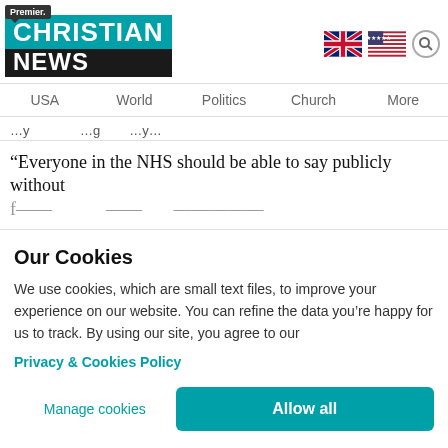Premier. CHRISTIAN NEWS
USA  World  Politics  Church  More
…y … …g … y…
“Everyone in the NHS should be able to say publicly without f…
Our Cookies
We use cookies, which are small text files, to improve your experience on our website. You can refine the data you’re happy for us to track. By using our site, you agree to our
Privacy & Cookies Policy
Manage cookies   Allow all